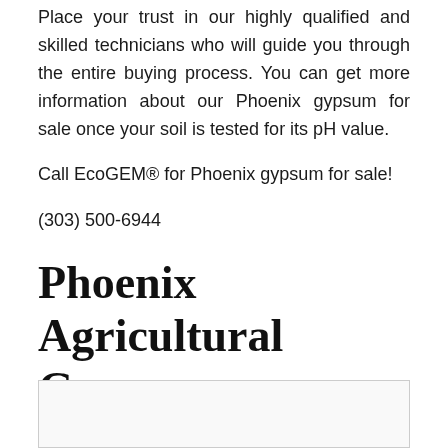Place your trust in our highly qualified and skilled technicians who will guide you through the entire buying process. You can get more information about our Phoenix gypsum for sale once your soil is tested for its pH value.
Call EcoGEM® for Phoenix gypsum for sale!
(303) 500-6944
Phoenix Agricultural Gypsum
[Figure (photo): Image placeholder box, partially visible at bottom of page]